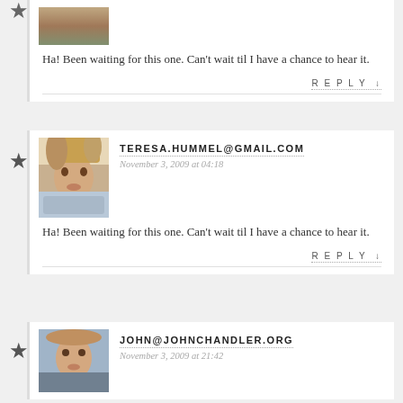[Figure (photo): Partial avatar image of a person (cropped, top portion only)]
Ha! Been waiting for this one. Can't wait til I have a chance to hear it.
REPLY ↓
[Figure (photo): Avatar photo of a woman with blonde hair, smiling, standing in front of a wooden door]
TERESA.HUMMEL@GMAIL.COM
November 3, 2009 at 04:18
Ha! Been waiting for this one. Can't wait til I have a chance to hear it.
REPLY ↓
[Figure (photo): Avatar photo of a man with short brown hair, smiling outdoors]
JOHN@JOHNCHANDLER.ORG
November 3, 2009 at 21:42